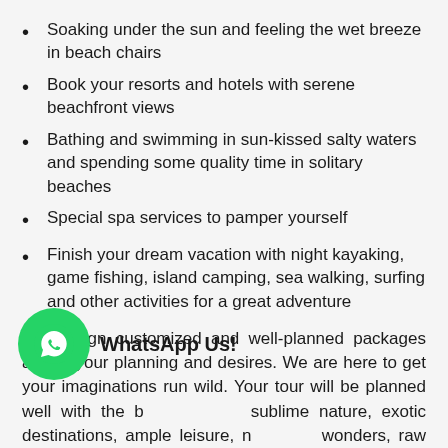Soaking under the sun and feeling the wet breeze in beach chairs
Book your resorts and hotels with serene beachfront views
Bathing and swimming in sun-kissed salty waters and spending some quality time in solitary beaches
Special spa services to pamper yourself
Finish your dream vacation with night kayaking, game fishing, island camping, sea walking, surfing and other activities for a great adventure
We design customized and well-planned packages as per your planning and desires. We are here to get your imaginations run wild. Your tour will be planned well with the b sublime nature, exotic destinations, ample leisure, n wonders, raw coral reefs, white sandy beaches, dense greens, and feel of being close to nature while watching
[Figure (logo): WhatsApp Us! button with green circular WhatsApp icon and bold text label]